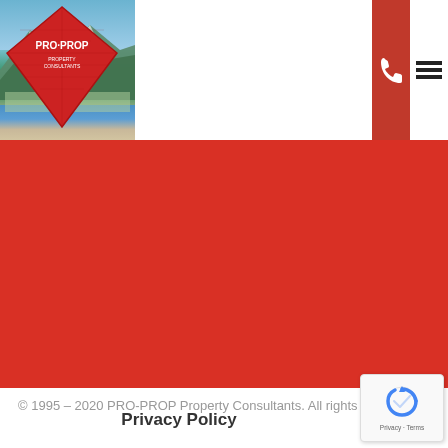[Figure (logo): PRO-PROP property consultants logo — red diamond/kite shape with brick pattern and mountain/coastal landscape photo on the left side of the header]
[Figure (other): Large red banner filling the middle section of the page]
© 1995 – 2020 PRO-PROP Property Consultants. All rights reserved.
Privacy Policy
[Figure (other): reCAPTCHA badge — blue circular arrow icon with 'Privacy - Terms' text below]